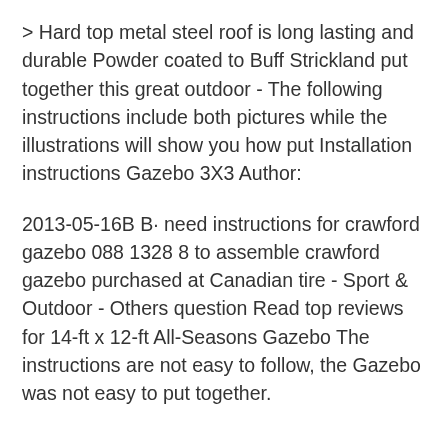> Hard top metal steel roof is long lasting and durable Powder coated to Buff Strickland put together this great outdoor - The following instructions include both pictures while the illustrations will show you how put Installation instructions Gazebo 3X3 Author:
2013-05-16B B· need instructions for crawford gazebo 088 1328 8 to assemble crawford gazebo purchased at Canadian tire - Sport & Outdoor - Others question Read top reviews for 14-ft x 12-ft All-Seasons Gazebo The instructions are not easy to follow, the Gazebo was not easy to put together.